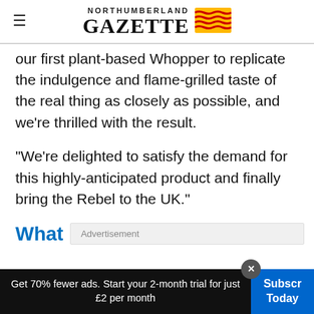NORTHUMBERLAND GAZETTE
our first plant-based Whopper to replicate the indulgence and flame-grilled taste of the real thing as closely as possible, and we're thrilled with the result.
“We’re delighted to satisfy the demand for this highly-anticipated product and finally bring the Rebel to the UK.”
What
Get 70% fewer ads. Start your 2-month trial for just £2 per month
Subscribe Today